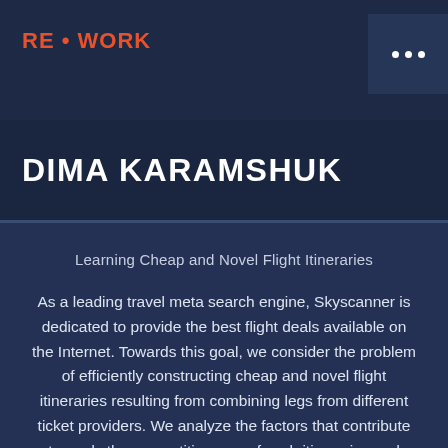RE·WORK
DIMA KARAMSHUK
Learning Cheap and Novel Flight Itineraries
As a leading travel meta search engine, Skyscanner is dedicated to provide the best flight deals available on the Internet. Towards this goal, we consider the problem of efficiently constructing cheap and novel flight itineraries resulting from combining legs from different ticket providers. We analyze the factors that contribute towards the competitiveness of such itineraries and